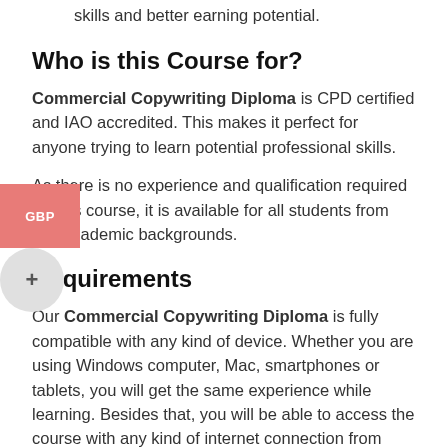skills and better earning potential.
Who is this Course for?
Commercial Copywriting Diploma is CPD certified and IAO accredited. This makes it perfect for anyone trying to learn potential professional skills.
As there is no experience and qualification required for this course, it is available for all students from any academic backgrounds.
Requirements
Our Commercial Copywriting Diploma is fully compatible with any kind of device. Whether you are using Windows computer, Mac, smartphones or tablets, you will get the same experience while learning. Besides that, you will be able to access the course with any kind of internet connection from anywhere at any time without any kind of limitation.